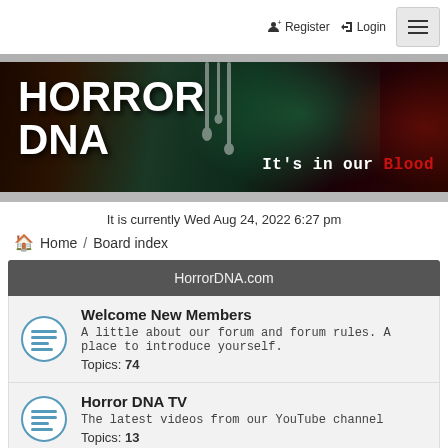Register  Login
[Figure (illustration): Horror DNA website banner — dark background with green and red horror atmosphere, large white bold text reading HORROR DNA and tagline 'It's in our Blood' with Blood in red]
It is currently Wed Aug 24, 2022 6:27 pm
Home / Board index
HorrorDNA.com
Welcome New Members
A little about our forum and forum rules. A place to introduce yourself.
Topics: 74
Horror DNA TV
The latest videos from our YouTube channel
Topics: 13